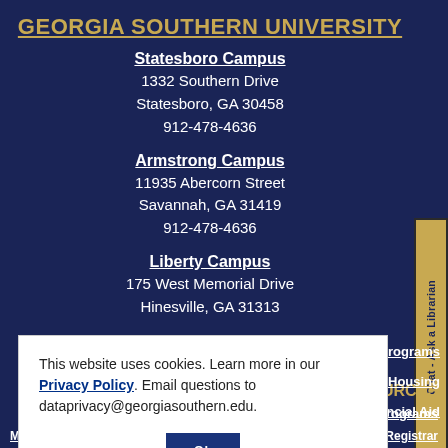GEORGIA SOUTHERN UNIVERSITY
Statesboro Campus
1332 Southern Drive
Statesboro, GA 30458
912-478-4636
Armstrong Campus
11935 Abercorn Street
Savannah, GA 31419
912-478-4636
Liberty Campus
175 West Memorial Drive
Hinesville, GA 31313
Chat - Ask a Librarian
This website uses cookies. Learn more in our Privacy Policy. Email questions to dataprivacy@georgiasouthern.edu.
Ok
SOURCES
s and Programs
Housing
nancial Aid
Military & Veterans
Registrar